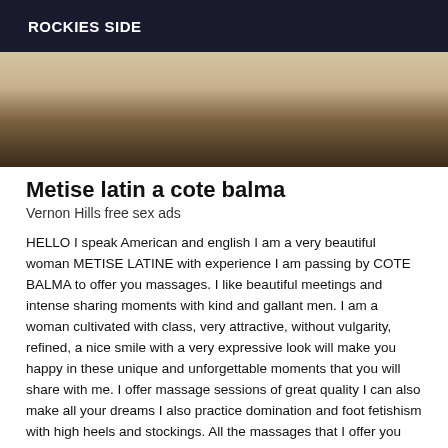ROCKIES SIDE
[Figure (photo): Partial blurred photo showing fabric or bedding in warm beige and brown tones, cropped at the top of the page]
Metise latin a cote balma
Vernon Hills free sex ads
HELLO I speak American and english I am a very beautiful woman METISE LATINE with experience I am passing by COTE BALMA to offer you massages. I like beautiful meetings and intense sharing moments with kind and gallant men. I am a woman cultivated with class, very attractive, without vulgarity, refined, a nice smile with a very expressive look will make you happy in these unique and unforgettable moments that you will share with me. I offer massage sessions of great quality I can also make all your dreams I also practice domination and foot fetishism with high heels and stockings. All the massages that I offer you will be done